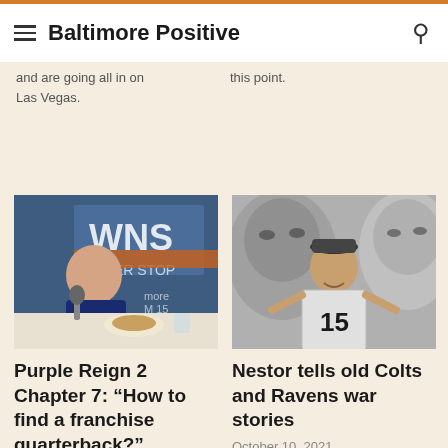Baltimore Positive
and are going all in on Las Vegas.
this point.
[Figure (photo): Man smiling at a radio studio desk with WNST sign in background]
Purple Reign 2 Chapter 7: “How to find a franchise quarterback?”
August 4, 2022
[Figure (photo): Man holding a Ravens jersey number 15 in front of a black and white mural of football players]
Nestor tells old Colts and Ravens war stories
October 10, 2021
Recently, Nestor Aparicio was